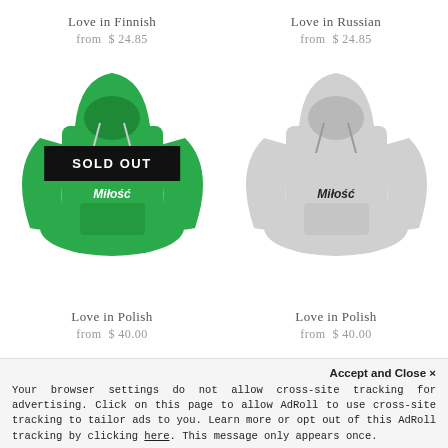Love in Finnish
from $ 24.85
Love in Russian
from $ 24.85
[Figure (photo): Green hoodie with graphic print and SOLD OUT overlay banner]
[Figure (photo): Light gray hoodie with graphic print]
Love in Polish
from $ 40.00
Love in Polish
from $ 40.00
Accept and Close ✕
Your browser settings do not allow cross-site tracking for advertising. Click on this page to allow AdRoll to use cross-site tracking to tailor ads to you. Learn more or opt out of this AdRoll tracking by clicking here. This message only appears once.